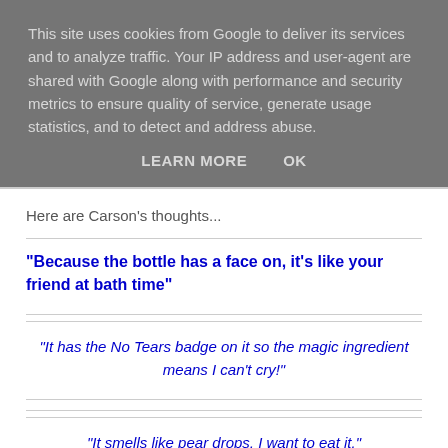This site uses cookies from Google to deliver its services and to analyze traffic. Your IP address and user-agent are shared with Google along with performance and security metrics to ensure quality of service, generate usage statistics, and to detect and address abuse.
LEARN MORE    OK
Here are Carson's thoughts...
"Because the bottle has a face on, it's like your friend at bath time"
"It has the No Tears badge on it so the magic ingredient means I can't cry!"
"It smells like pear drops, I want to eat it."